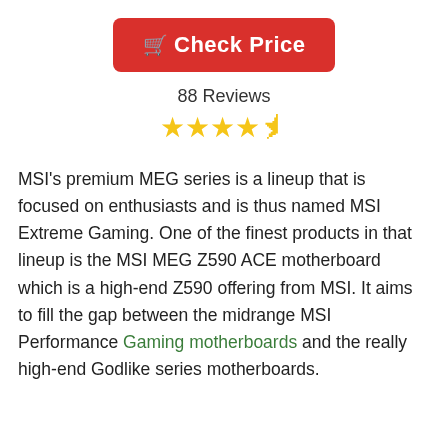[Figure (other): Red 'Check Price' button with shopping cart icon]
88 Reviews
[Figure (other): 4.5 star rating shown with yellow stars]
MSI's premium MEG series is a lineup that is focused on enthusiasts and is thus named MSI Extreme Gaming. One of the finest products in that lineup is the MSI MEG Z590 ACE motherboard which is a high-end Z590 offering from MSI. It aims to fill the gap between the midrange MSI Performance Gaming motherboards and the really high-end Godlike series motherboards.